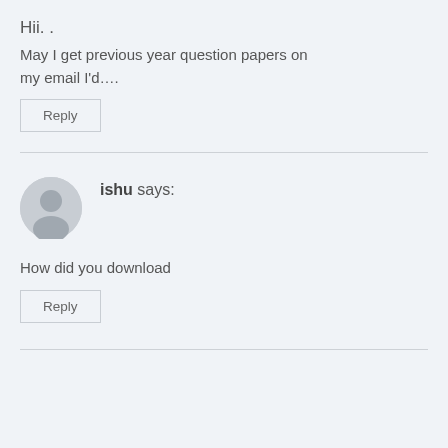Hii. .
May I get previous year question papers on my email I'd….
Reply
ishu says:
How did you download
Reply